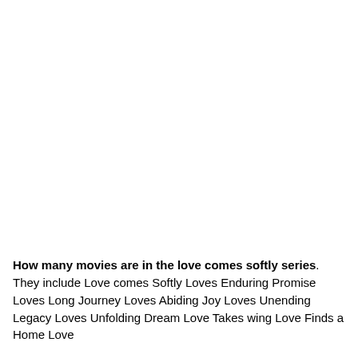How many movies are in the love comes softly series. They include Love comes Softly Loves Enduring Promise Loves Long Journey Loves Abiding Joy Loves Unending Legacy Loves Unfolding Dream Love Takes wing Love Finds a Home Love